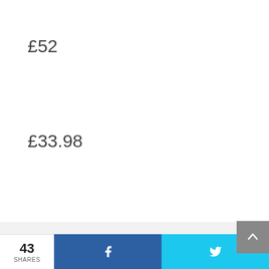£52
£33.98
Casual Shoes
2
£78.00
£80
43 SHARES